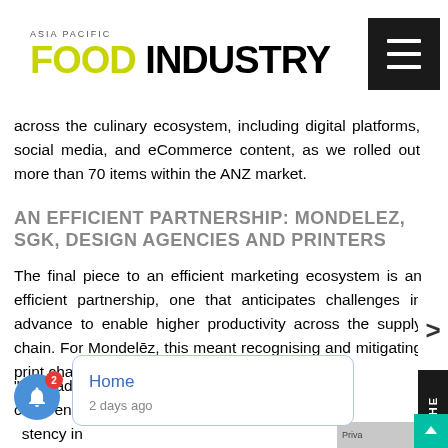ASIA PACIFIC FOOD INDUSTRY
across the culinary ecosystem, including digital platforms, social media, and eCommerce content, as we rolled out more than 70 items within the ANZ market.
AN EFFICIENT PARTNERSHIP: MONDELEZ, SGK, DESIGN AGENCIES AND PRINTERS
The final piece to an efficient marketing ecosystem is an efficient partnership, one that anticipates challenges in advance to enable higher productivity across the supply chain. For Mondelēz, this meant recognising and mitigating print challenges before they occurred.
“We had a clear visibility into client engagement consistency in s all mark new design throughout the production process.”
Home
2 days ago